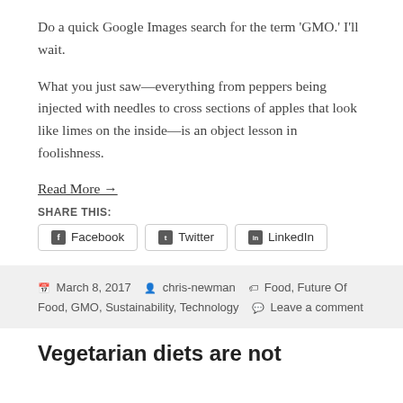Do a quick Google Images search for the term 'GMO.' I'll wait.
What you just saw—everything from peppers being injected with needles to cross sections of apples that look like limes on the inside—is an object lesson in foolishness.
Read More →
SHARE THIS:
Facebook   Twitter   LinkedIn
March 8, 2017   chris-newman   Food, Future Of Food, GMO, Sustainability, Technology   Leave a comment
Vegetarian diets are not